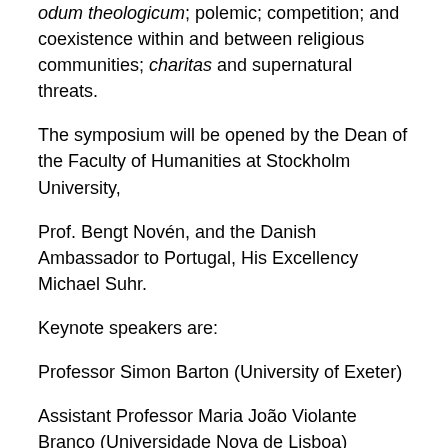odum theologicum; polemic; competition; and coexistence within and between religious communities; charitas and supernatural threats.
The symposium will be opened by the Dean of the Faculty of Humanities at Stockholm University,
Prof. Bengt Novén, and the Danish Ambassador to Portugal, His Excellency Michael Suhr.
Keynote speakers are:
Professor Simon Barton (University of Exeter)
Assistant Professor Maria João Violante Branco (Universidade Nova de Lisboa)
Professor Simon Doubleday (Hofstra University, NY)
Professor Maribel Fierro (Centro Superior do